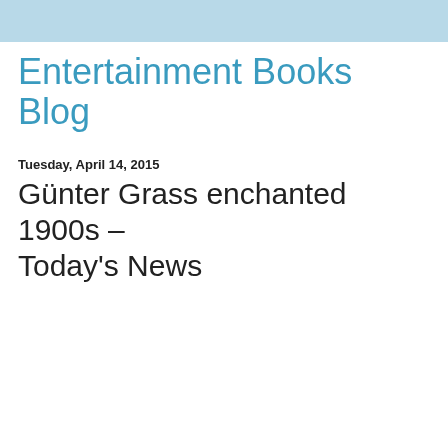Entertainment Books Blog
Tuesday, April 14, 2015
Günter Grass enchanted 1900s – Today's News
Published today 8:20